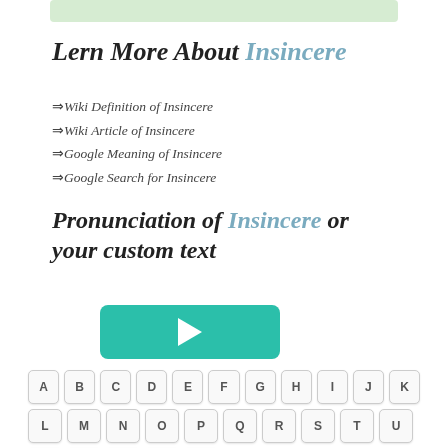[Figure (other): Green rounded rectangle bar at top of page]
Lern More About Insincere
⇒Wiki Definition of Insincere
⇒Wiki Article of Insincere
⇒Google Meaning of Insincere
⇒Google Search for Insincere
Pronunciation of Insincere or your custom text
[Figure (other): Teal/green play button]
[Figure (other): Keyboard with letter keys A-Z]